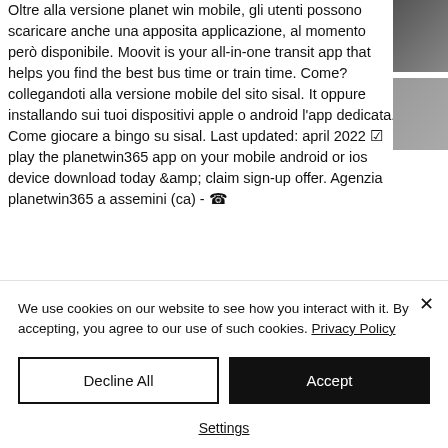Oltre alla versione planet win mobile, gli utenti possono scaricare anche una apposita applicazione, al momento però disponibile. Moovit is your all-in-one transit app that helps you find the best bus time or train time. Come? collegandoti alla versione mobile del sito sisal. It oppure installando sui tuoi dispositivi apple o android l'app dedicata. Come giocare a bingo su sisal. Last updated: april 2022 ✓ play the planetwin365 app on your mobile android or ios device download today &amp; claim sign-up offer. Agenzia planetwin365 a assemini (ca) - ☎
[Figure (photo): Partial photo visible on right side of page, showing a person]
We use cookies on our website to see how you interact with it. By accepting, you agree to our use of such cookies. Privacy Policy
Decline All
Accept
Settings